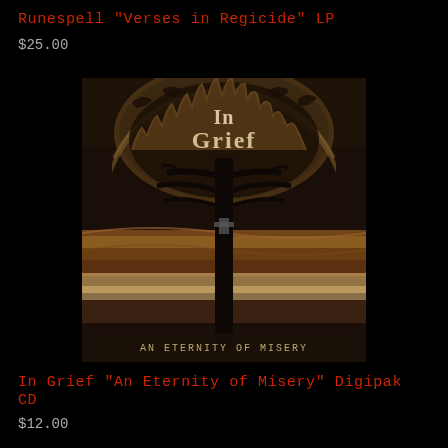Runespell "Verses in Regicide" LP
$25.00
[Figure (photo): Album cover for In Grief 'An Eternity of Misery' - dark gothic artwork featuring a bare tree silhouette against a layered landscape with gothic arch stonework at top, text 'In Grief' in stylized font and 'AN ETERNITY OF MISERY' at bottom]
In Grief "An Eternity of Misery" Digipak CD
$12.00